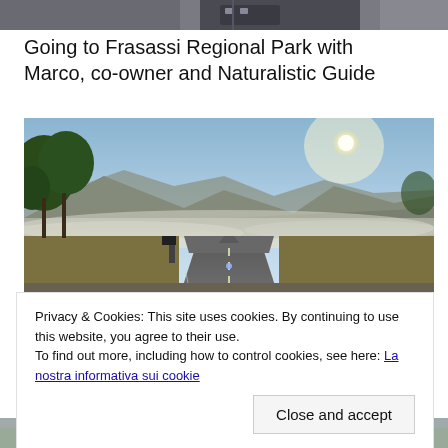[Figure (photo): Top portion of a photo showing two people, partially cropped, wearing casual clothes]
Going to Frasassi Regional Park with Marco, co-owner and Naturalistic Guide
[Figure (photo): A road stretching into the distance with misty mountains in the background, trees on the left, bright sun in the upper right sky, early morning haze over fields]
Privacy & Cookies: This site uses cookies. By continuing to use this website, you agree to their use.
To find out more, including how to control cookies, see here: La nostra informativa sui cookie
[Figure (photo): Bottom portion of another outdoor scenic photo, partially visible]